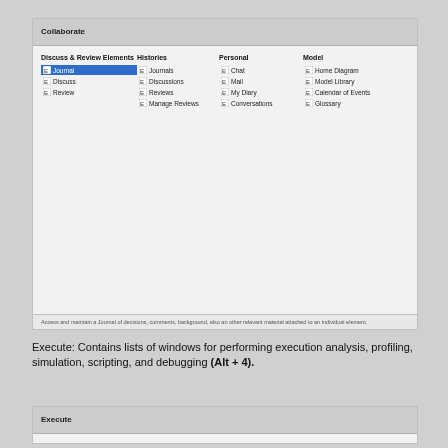[Figure (screenshot): Screenshot of Collaborate dialog showing four columns: 'Discuss & Review Elements' with items Journal (selected), Discuss, Review; 'Histories' with Journals, Discussions, Reviews, Manage Reviews; 'Personal' with Chat, Mail, My Diary, Conversations; 'Model' with Home Diagram, Model Library, Calendar of Events, Glossary. Status bar at bottom reads: Access and maintain a Journal of decisions, comments, background, also an other relevant material attached to an individual element.]
Execute: Contains lists of windows for performing execution analysis, profiling, simulation, scripting, and debugging (Alt + 4).
[Figure (screenshot): Screenshot of Execute dialog header.]